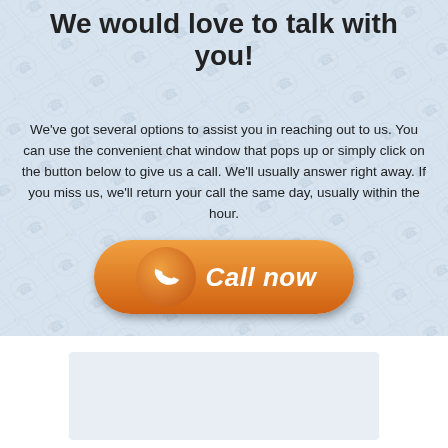We would love to talk with you!
We've got several options to assist you in reaching out to us. You can use the convenient chat window that pops up or simply click on the button below to give us a call. We'll usually answer right away. If you miss us, we'll return your call the same day, usually within the hour.
[Figure (illustration): Orange rounded button with phone icon and 'Call now' text]
[Figure (other): Light blue-gray empty box area at the bottom of the page]